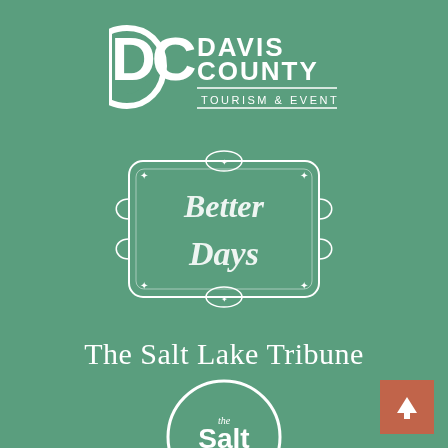[Figure (logo): Davis County Tourism & Events logo in white on teal/green background. Features DC interlocking letters mark on left and text 'DAVIS COUNTY TOURISM & EVENTS' on right.]
[Figure (logo): Better Days ornate vintage-style logo in white on teal/green background. Decorative cartouche/badge shape with scrollwork borders containing stylized script text 'BETTER DAYS'.]
[Figure (logo): The Salt Lake Tribune logo in white old-style/blackletter serif typography on teal/green background.]
[Figure (logo): The Salt Project logo in white circle outline on teal/green background. Inside circle: 'the Salt project' in mixed typography.]
[Figure (logo): Arts to Zion logo partially visible at bottom of page in white decorative font on teal/green background.]
[Figure (other): Terracotta/rust colored square button with white upward arrow icon in bottom-right corner.]